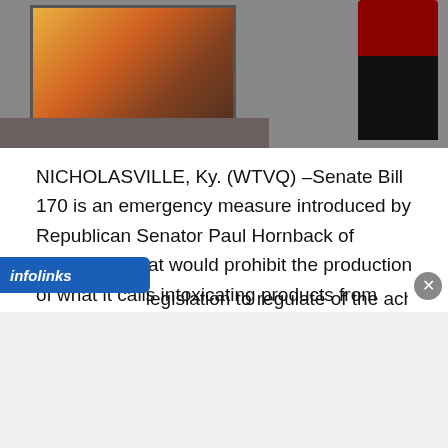[Figure (photo): News broadcast screenshot showing a TV screen with fire/plant imagery and a reporter standing in front of it in a studio setting]
NICHOLASVILLE, Ky. (WTVQ) –Senate Bill 170 is an emergency measure introduced by Republican Senator Paul Hornback of Shelbyville that would prohibit the production of what it calls intoxicating products from hemp.
Those products include Delta 8 THC, a psychoactive cannabinoid that is extracted from hemp plants and contains a low amount of THC, low enough that it is legal on the federal level.
...legislation to regulate of the aching category...